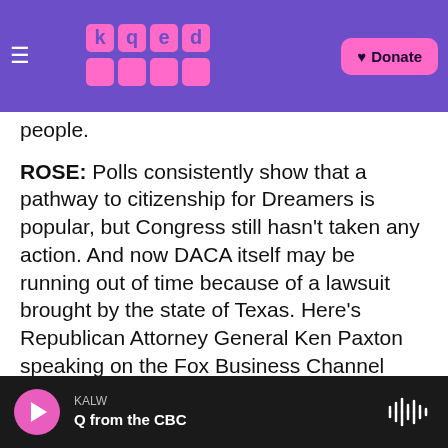KALW / kqed logo / Donate
people.
ROSE: Polls consistently show that a pathway to citizenship for Dreamers is popular, but Congress still hasn't taken any action. And now DACA itself may be running out of time because of a lawsuit brought by the state of Texas. Here's Republican Attorney General Ken Paxton speaking on the Fox Business Channel after the judge ruled last year.
KEN PAXTON: President Obama created DACA out of thin air. And this judge is correct to say that this made up law that Obama overruled federal law with was completely unconstitutional
KALW | Q from the CBC